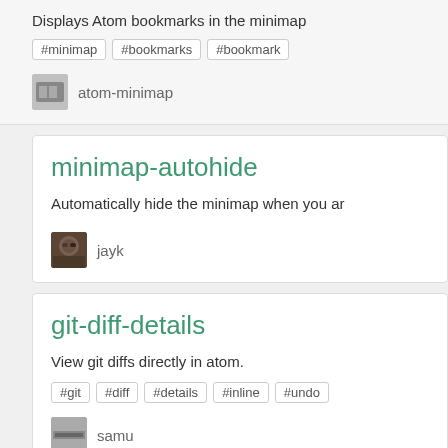Displays Atom bookmarks in the minimap
#minimap  #bookmarks  #bookmark
atom-minimap
minimap-autohide
Automatically hide the minimap when you ar
jayk
git-diff-details
View git diffs directly in atom.
#git  #diff  #details  #inline  #undo
samu